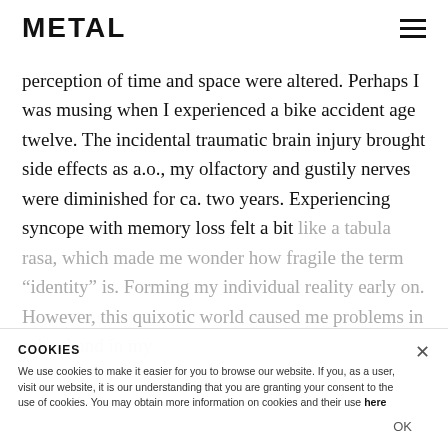METAL
perception of time and space were altered. Perhaps I was musing when I experienced a bike accident age twelve. The incidental traumatic brain injury brought side effects as a.o., my olfactory and gustily nerves were diminished for ca. two years. Experiencing syncope with memory loss felt a bit like a tabula rasa, which made me wonder how fragile the term “identity” is. Forming my individual reality early on. However, this quixotic world caused me problems in school and in my
COOKIES
We use cookies to make it easier for you to browse our website. If you, as a user, visit our website, it is our understanding that you are granting your consent to the use of cookies. You may obtain more information on cookies and their use here
OK